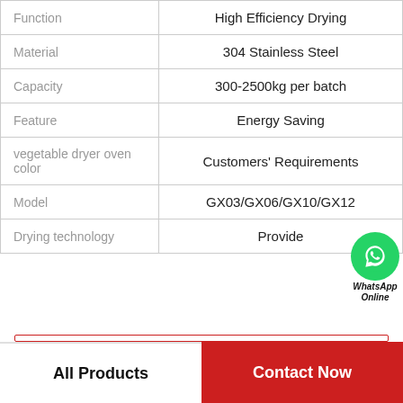| Attribute | Value |
| --- | --- |
| Function | High Efficiency Drying |
| Material | 304 Stainless Steel |
| Capacity | 300-2500kg per batch |
| Feature | Energy Saving |
| vegetable dryer oven color | Customers' Requirements |
| Model | GX03/GX06/GX10/GX12 |
| Drying technology | Provide |
[Figure (illustration): WhatsApp Online badge with green phone icon]
All Products
Contact Now